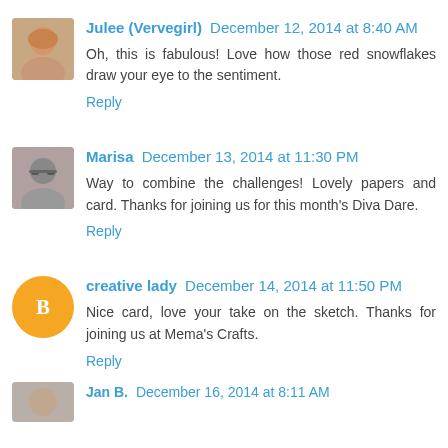[Figure (photo): Avatar photo of Julee (Vervegirl), a woman with blonde hair]
Julee (Vervegirl) December 12, 2014 at 8:40 AM
Oh, this is fabulous! Love how those red snowflakes draw your eye to the sentiment.
Reply
[Figure (photo): Avatar photo of Marisa, a woman with dark hair and glasses]
Marisa December 13, 2014 at 11:30 PM
Way to combine the challenges! Lovely papers and card. Thanks for joining us for this month's Diva Dare.
Reply
[Figure (logo): Blogger icon - orange circle with white B]
creative lady December 14, 2014 at 11:50 PM
Nice card, love your take on the sketch. Thanks for joining us at Mema's Crafts.
Reply
[Figure (photo): Partial avatar of fourth commenter, cut off at bottom of page]